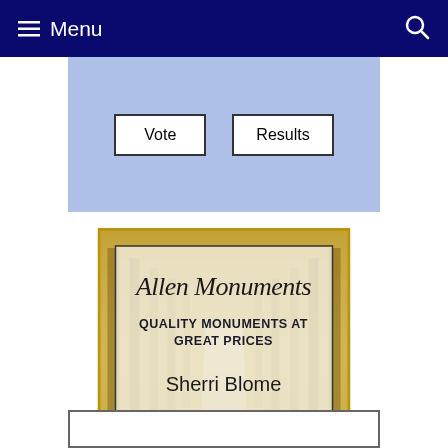Menu
Vote | Results
[Figure (illustration): Allen Monuments advertisement showing a tree-lined path background. Text reads: Allen Monuments, QUALITY MONUMENTS AT GREAT PRICES, Sherri Blome, 308-432-8488]